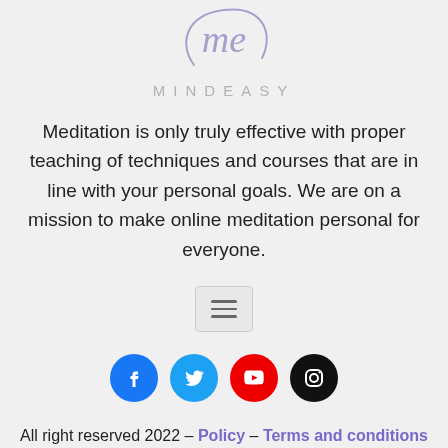[Figure (logo): Mindeasy logo: stylized 'me' in purple cursive inside a partial circle, with the word MINDEASY in light gray spaced letters below]
Meditation is only truly effective with proper teaching of techniques and courses that are in line with your personal goals. We are on a mission to make online meditation personal for everyone.
[Figure (other): Hamburger menu button icon with three horizontal lines inside a light gray rounded rectangle]
[Figure (other): Row of four social media icons: Facebook (blue circle), Twitter (light blue circle), YouTube (red circle), Instagram (black circle)]
All right reserved 2022 – Policy – Terms and conditions